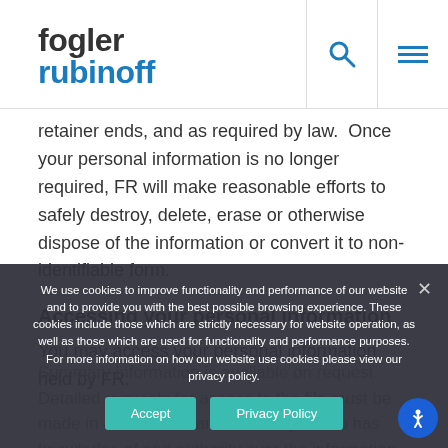[Figure (logo): Fogler Rubinoff law firm logo with search and hamburger menu icons]
retainer ends, and as required by law.  Once your personal information is no longer required, FR will make reasonable efforts to safely destroy, delete, erase or otherwise dispose of the information or convert it to non-identifiable form.
Accessing your personal information
You may access your personal information held by FR.
Summary information is available on request. Detailed requests for access to the file must be made in a form familiar to the lawyer who has knowledge of and authority over the information sought, in writing
information about ongoing or anticipated legal proceedings submitted to...
We use cookies to improve functionality and performance of our website and to provide you with the best possible browsing experience. These cookies include those which are strictly necessary for website operation, as well as those which are used for functionality and performance purposes. For more information on how our website use cookies please view our privacy policy.